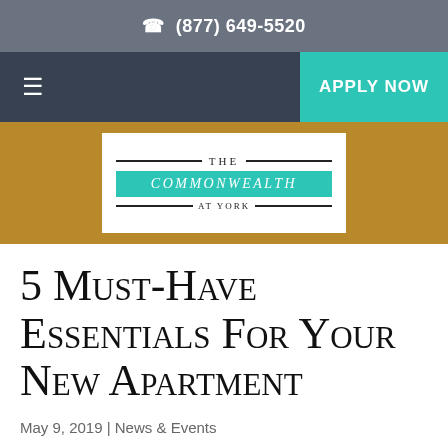(877) 649-5520
[Figure (logo): The Commonwealth At York logo with teal banner and decorative lines]
5 Must-Have Essentials For Your New Apartment
May 9, 2019 | News & Events